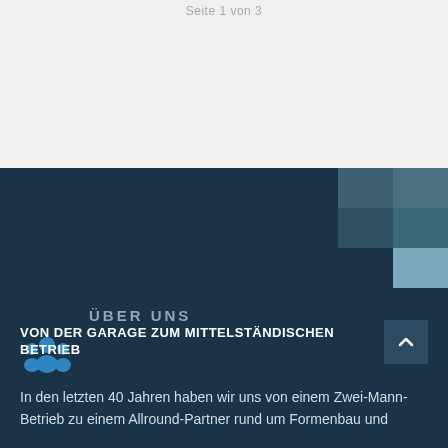Seite 1 von 3
[Figure (illustration): Light gray background section occupying top third of page]
[Figure (infographic): Dark navy background section with decorative pixel/mosaic squares in shades of blue-gray in the top-right corner]
ÜBER UNS
VON DER GARAGE ZUM MITTELSTÄNDISCHEN BETRIEB
In den letzten 40 Jahren haben wir uns von einem Zwei-Mann-Betrieb zu einem Allround-Partner rund um Formenbau und